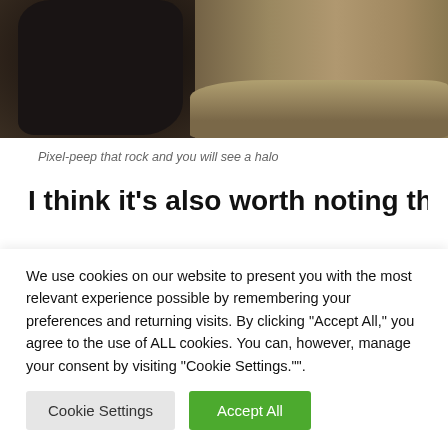[Figure (photo): Child wearing a dark patterned sweatshirt sitting on a sandy beach with rocks in the background]
Pixel-peep that rock and you will see a halo
I think it’s also worth noting that the menu
We use cookies on our website to present you with the most relevant experience possible by remembering your preferences and returning visits. By clicking "Accept All," you agree to the use of ALL cookies. You can, however, manage your consent by visiting "Cookie Settings."".